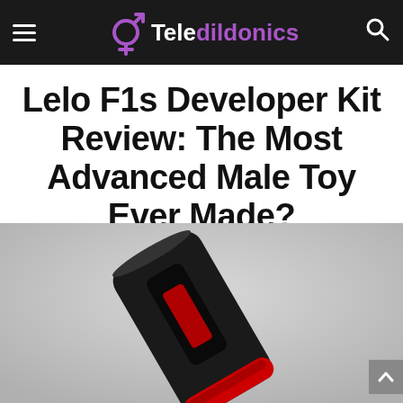Teledildonics
Lelo F1s Developer Kit Review: The Most Advanced Male Toy Ever Made?
[Figure (photo): Product photo of the Lelo F1s Developer Kit — a black cylindrical male device with a red accent band, shown at an angle on a grey gradient background.]